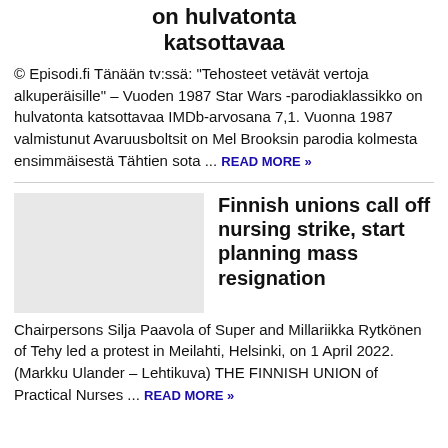on hulvatonta katsottavaa
© Episodi.fi Tänään tv:ssä: "Tehosteet vetävät vertoja alkuperäisille" – Vuoden 1987 Star Wars -parodiaklassikko on hulvatonta katsottavaa IMDb-arvosana 7,1. Vuonna 1987 valmistunut Avaruusboltsit on Mel Brooksin parodia kolmesta ensimmäisestä Tähtien sota ... READ MORE »
[Figure (photo): Thumbnail image placeholder for second article (gray rectangle)]
Finnish unions call off nursing strike, start planning mass resignation
Chairpersons Silja Paavola of Super and Millariikka Rytkönen of Tehy led a protest in Meilahti, Helsinki, on 1 April 2022. (Markku Ulander – Lehtikuva) THE FINNISH UNION of Practical Nurses ... READ MORE »